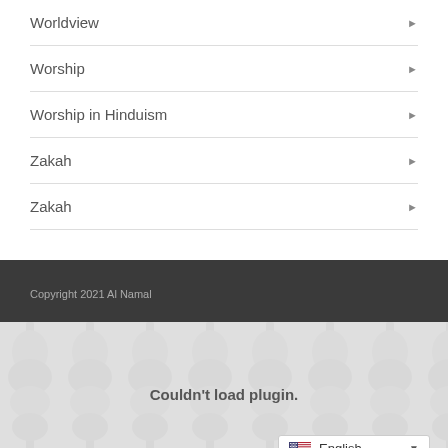Worldview
Worship
Worship in Hinduism
Zakah
Zakah
Copyright 2021 Al Namal
Couldn't load plugin.
English